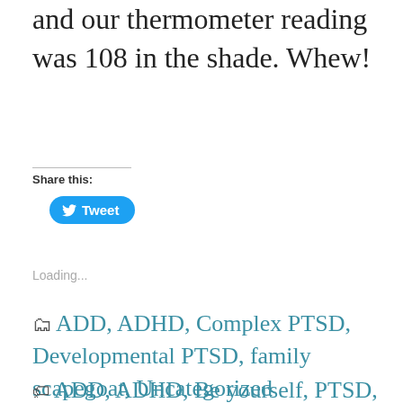and our thermometer reading was 108 in the shade. Whew!
Share this:
[Figure (other): Tweet button with Twitter bird icon]
Loading...
ADD, ADHD, Complex PTSD, Developmental PTSD, family scapegoat, Uncategorized
ADD, ADHD, Be yourself, PTSD, Stop the